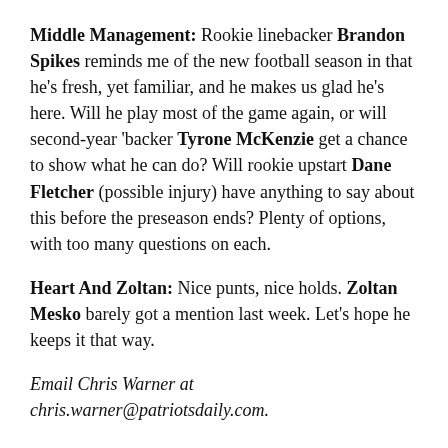Middle Management: Rookie linebacker Brandon Spikes reminds me of the new football season in that he's fresh, yet familiar, and he makes us glad he's here. Will he play most of the game again, or will second-year 'backer Tyrone McKenzie get a chance to show what he can do? Will rookie upstart Dane Fletcher (possible injury) have anything to say about this before the preseason ends? Plenty of options, with too many questions on each.
Heart And Zoltan: Nice punts, nice holds. Zoltan Mesko barely got a mention last week. Let's hope he keeps it that way.
Email Chris Warner at chris.warner@patriotsdaily.com.